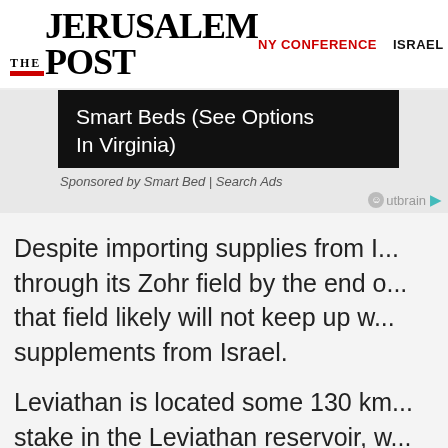THE JERUSALEM POST  NY CONFERENCE  ISRAEL
[Figure (screenshot): Advertisement banner with black background showing text 'Smart Beds (See Options In Virginia)' with 'Sponsored by Smart Bed | Search Ads' below]
Despite importing supplies from I... through its Zohr field by the end o... that field likely will not keep up w... supplements from Israel.
Leviathan is located some 130 km... stake in the Leviathan reservoir, w... Oil Exploration holds 15%.